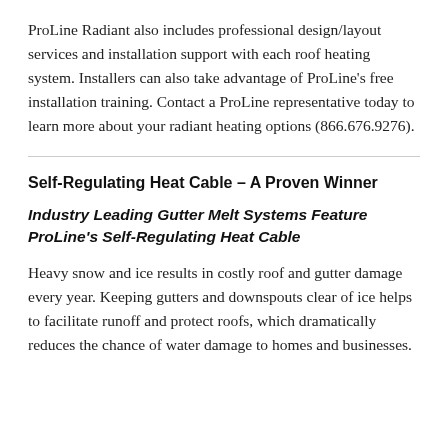ProLine Radiant also includes professional design/layout services and installation support with each roof heating system. Installers can also take advantage of ProLine's free installation training. Contact a ProLine representative today to learn more about your radiant heating options (866.676.9276).
Self-Regulating Heat Cable – A Proven Winner
Industry Leading Gutter Melt Systems Feature ProLine's Self-Regulating Heat Cable
Heavy snow and ice results in costly roof and gutter damage every year. Keeping gutters and downspouts clear of ice helps to facilitate runoff and protect roofs, which dramatically reduces the chance of water damage to homes and businesses.